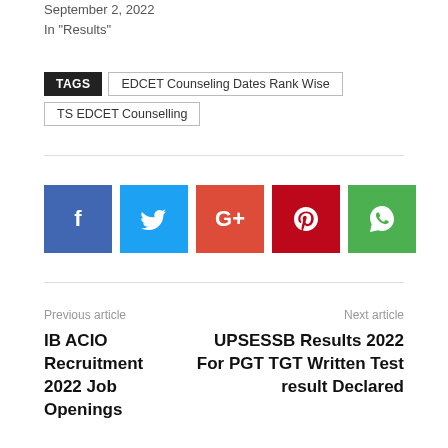September 2, 2022
In "Results"
TAGS  EDCET Counseling Dates Rank Wise  TS EDCET Counselling
[Figure (infographic): Social sharing buttons: Facebook (blue), Twitter (light blue), Google+ (red-orange), Pinterest (dark red), WhatsApp (green)]
Previous article
IB ACIO Recruitment 2022 Job Openings
Next article
UPSESSB Results 2022 For PGT TGT Written Test result Declared